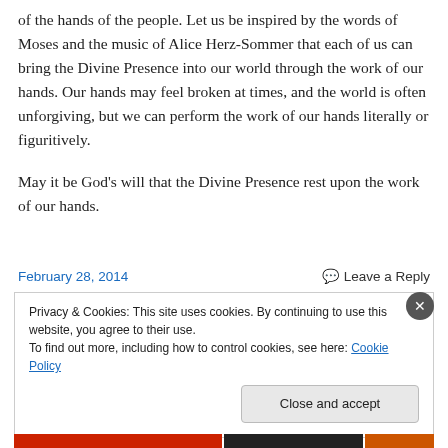of the hands of the people. Let us be inspired by the words of Moses and the music of Alice Herz-Sommer that each of us can bring the Divine Presence into our world through the work of our hands. Our hands may feel broken at times, and the world is often unforgiving, but we can perform the work of our hands literally or figuritively.
May it be God's will that the Divine Presence rest upon the work of our hands.
February 28, 2014
Leave a Reply
Privacy & Cookies: This site uses cookies. By continuing to use this website, you agree to their use.
To find out more, including how to control cookies, see here: Cookie Policy